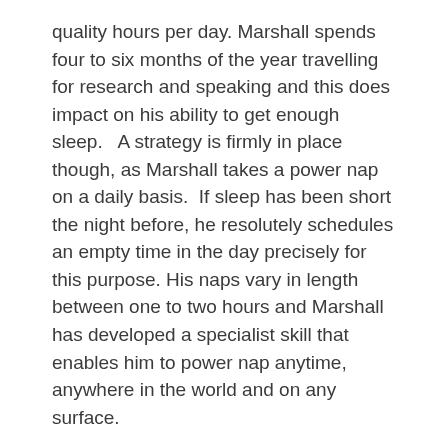quality hours per day. Marshall spends four to six months of the year travelling for research and speaking and this does impact on his ability to get enough sleep.  A strategy is firmly in place though, as Marshall takes a power nap on a daily basis.  If sleep has been short the night before, he resolutely schedules an empty time in the day precisely for this purpose. His naps vary in length between one to two hours and Marshall has developed a specialist skill that enables him to power nap anytime, anywhere in the world and on any surface.
Sleep deprivation can be torture and has been used as a weapon for centuries. When tired, your body acts as though you have a blood alcohol level of 0.05, although being tired isn't quite as much fun as having a glass of wine!
The jury is still out on the exact amount of sleep required but most people need 6-8 hours per night to be effective and perform at their peak.  The variables in determining how much sleep we need include: age, state of health, the weather, physical activity,